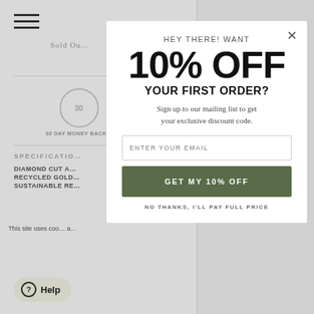[Figure (screenshot): Background e-commerce product page partially visible, showing hamburger menu, 'Sold Out' text, 30-day money back icon, specifications section, cookie notice, and help button]
HEY THERE! WANT
10% OFF
YOUR FIRST ORDER?
Sign up to our mailing list to get your exclusive discount code.
ENTER YOUR EMAIL
GET MY 10% OFF
NO THANKS, I'LL PAY FULL PRICE